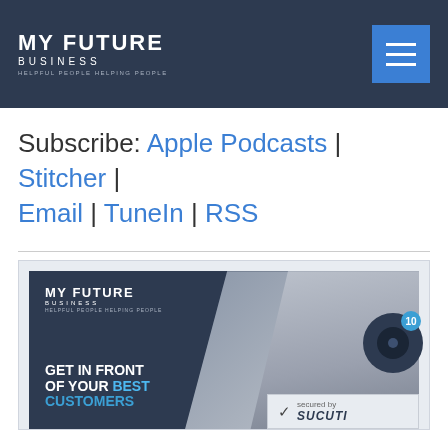MY FUTURE BUSINESS
Subscribe: Apple Podcasts | Stitcher | Email | TuneIn | RSS
[Figure (screenshot): My Future Business podcast card image with text: GET IN FRONT OF YOUR BEST CUSTOMERS, with a man in a suit in the background and the My Future Business logo]
[Figure (logo): Sucuri security badge: secured by Sucuri]